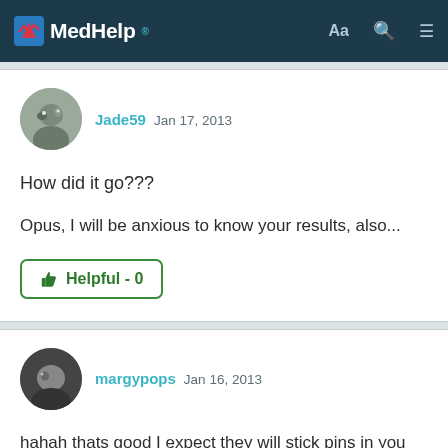MedHelp
Jade59 Jan 17, 2013
How did it go???
Opus, I will be anxious to know your results, also...
Helpful - 0
margypops Jan 16, 2013
hahah thats good I expect they will stick pins in you LOL just joking...